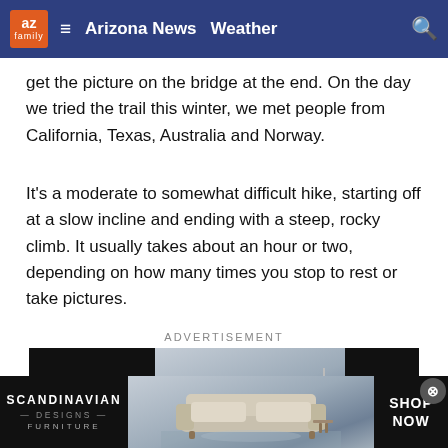az family | Arizona News  Weather
get the picture on the bridge at the end. On the day we tried the trail this winter, we met people from California, Texas, Australia and Norway.
It's a moderate to somewhat difficult hike, starting off at a slow incline and ending with a steep, rocky climb. It usually takes about an hour or two, depending on how many times you stop to rest or take pictures.
ADVERTISEMENT
[Figure (other): Scandinavian Designs Furniture advertisement banner with sofa image and 'SHOP NOW' call to action]
The bridge at the end is wider than it looks, making it the ideal sp
[Figure (other): Sticky bottom Scandinavian Designs Furniture advertisement banner with sofa image and 'SHOP NOW' call to action]